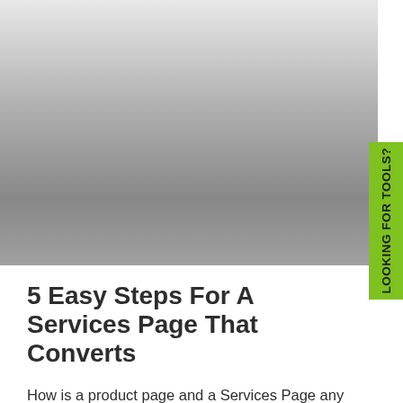[Figure (photo): Large hero image placeholder with gradient from light grey at top to darker grey at bottom]
LOOKING FOR TOOLS?
5 Easy Steps For A Services Page That Converts
How is a product page and a Services Page any different? And how can you make a services